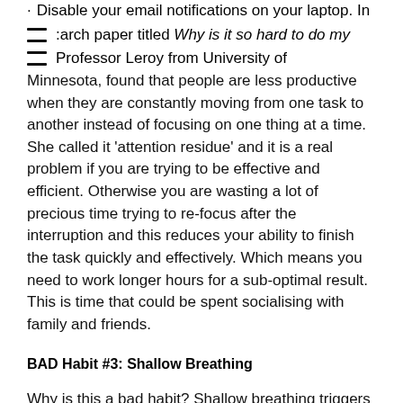Disable your email notifications on your laptop. In a research paper titled Why is it so hard to do my work, Professor Leroy from University of Minnesota, found that people are less productive when they are constantly moving from one task to another instead of focusing on one thing at a time. She called it 'attention residue' and it is a real problem if you are trying to be effective and efficient. Otherwise you are wasting a lot of precious time trying to re-focus after the interruption and this reduces your ability to finish the task quickly and effectively. Which means you need to work longer hours for a sub-optimal result. This is time that could be spent socialising with family and friends.
BAD Habit #3: Shallow Breathing
Why is this a bad habit? Shallow breathing triggers